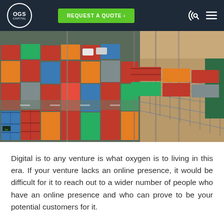OGS Capital | REQUEST A QUOTE
[Figure (photo): Aerial view of a freight container yard with colorful shipping containers stacked in rows, alongside railway tracks with freight trains, in an arid landscape.]
Digital is to any venture is what oxygen is to living in this era. If your venture lacks an online presence, it would be difficult for it to reach out to a wider number of people who have an online presence and who can prove to be your potential customers for it.